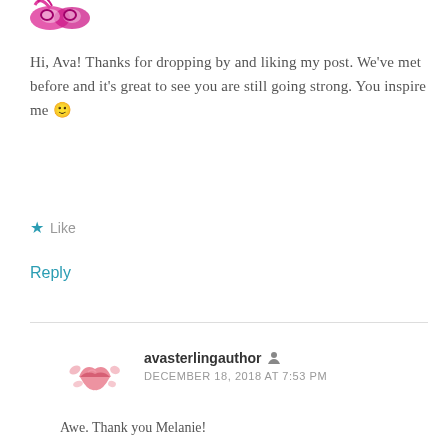[Figure (illustration): Partial pink masquerade mask avatar at top left]
Hi, Ava! Thanks for dropping by and liking my post. We've met before and it's great to see you are still going strong. You inspire me 🙂
Like
Reply
[Figure (illustration): Pink lipstick kiss mark avatar for avasterlingauthor]
avasterlingauthor
DECEMBER 18, 2018 AT 7:53 PM
Awe. Thank you Melanie!
Like